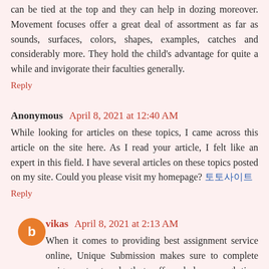can be tied at the top and they can help in dozing moreover. Movement focuses offer a great deal of assortment as far as sounds, surfaces, colors, shapes, examples, catches and considerably more. They hold the child's advantage for quite a while and invigorate their faculties generally.
Reply
Anonymous  April 8, 2021 at 12:40 AM
While looking for articles on these topics, I came across this article on the site here. As I read your article, I felt like an expert in this field. I have several articles on these topics posted on my site. Could you please visit my homepage? 토토사이트
Reply
vikas  April 8, 2021 at 2:13 AM
When it comes to providing best assignment service online, Unique Submission makes sure to complete assignment antecedently to offer scholars enough time to proof read the given assignment